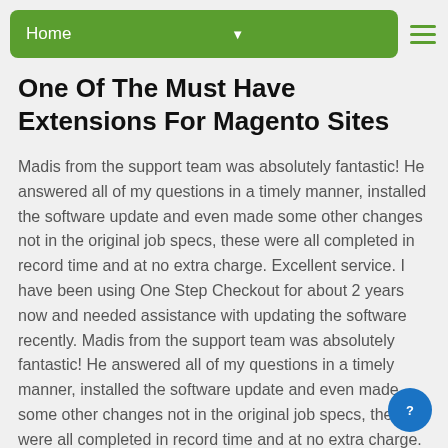Home
One Of The Must Have Extensions For Magento Sites
Madis from the support team was absolutely fantastic! He answered all of my questions in a timely manner, installed the software update and even made some other changes not in the original job specs, these were all completed in record time and at no extra charge. Excellent service. I have been using One Step Checkout for about 2 years now and needed assistance with updating the software recently. Madis from the support team was absolutely fantastic! He answered all of my questions in a timely manner, installed the software update and even made some other changes not in the original job specs, these were all completed in record time and at no extra charge. This is a fantastic product